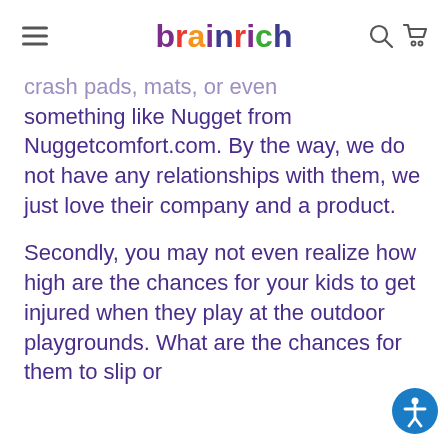brainrich
crash pads, mats, or even something like Nugget from Nuggetcomfort.com. By the way, we do not have any relationships with them, we just love their company and a product.
Secondly, you may not even realize how high are the chances for your kids to get injured when they play at the outdoor playgrounds. What are the chances for them to slip or